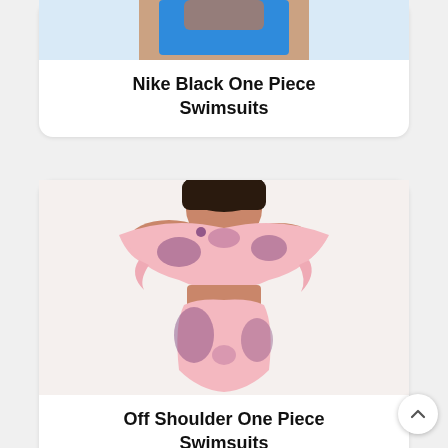[Figure (photo): Partial top card showing a blue one-piece swimsuit on a model, cropped at top]
Nike Black One Piece Swimsuits
[Figure (photo): Off-shoulder pink floral ruffled two-piece/one-piece swimsuit on a model with dark hair]
Off Shoulder One Piece Swimsuits